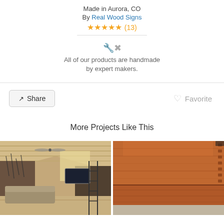Made in Aurora, CO
By Real Wood Signs
★★★★★ (13)
All of our products are handmade by expert makers.
Share
Favorite
More Projects Like This
[Figure (photo): Interior room with vaulted wood ceiling, ceiling fan, large windows, framed picture on wall, and modern furniture]
[Figure (photo): Close-up of a handmade wooden box with dovetail joints, reddish-brown wood grain]